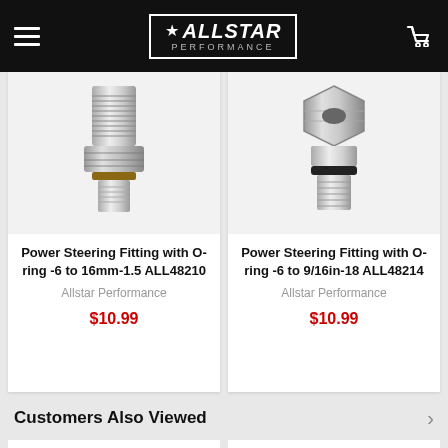Allstar Performance
[Figure (photo): Power steering fitting with O-ring, chrome/silver threaded fitting with O-ring visible at base, -6 to 16mm-1.5]
Power Steering Fitting with O-ring -6 to 16mm-1.5 ALL48210
Allstar Performance
$10.99
[Figure (photo): Power steering fitting with O-ring, hex head bolt style chrome fitting with black O-ring, -6 to 9/16in-18]
Power Steering Fitting with O-ring -6 to 9/16in-18 ALL48214
Allstar Performance
$10.99
Customers Also Viewed